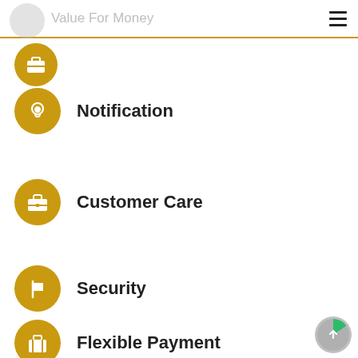Value For Money
Notification
Customer Care
Security
Flexible Payment